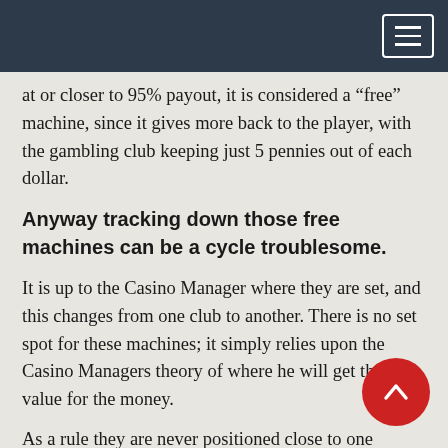at or closer to 95% payout, it is considered a “free” machine, since it gives more back to the player, with the gambling club keeping just 5 pennies out of each dollar.
Anyway tracking down those free machines can be a cycle troublesome.
It is up to the Casino Manager where they are set, and this changes from one club to another. There is no set spot for these machines; it simply relies upon the Casino Managers theory of where he will get the best value for the money.
As a rule they are never positioned close to one another (so those of you that like to play two machines all at once, be cautioned that